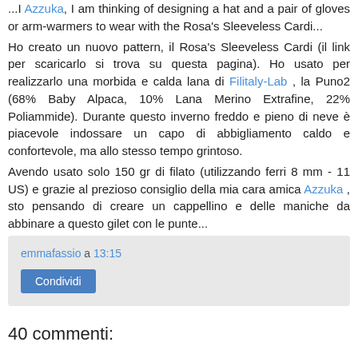...I am thinking of designing a hat and a pair of gloves or arm-warmers to wear with the Rosa's Sleeveless Cardi...
Ho creato un nuovo pattern, il Rosa's Sleeveless Cardi (il link per scaricarlo si trova su questa pagina). Ho usato per realizzarlo una morbida e calda lana di Filitaly-Lab , la Puno2 (68% Baby Alpaca, 10% Lana Merino Extrafine, 22% Poliammide). Durante questo inverno freddo e pieno di neve è piacevole indossare un capo di abbigliamento caldo e confortevole, ma allo stesso tempo grintoso.
Avendo usato solo 150 gr di filato (utilizzando ferri 8 mm - 11 US) e grazie al prezioso consiglio della mia cara amica Azzuka , sto pensando di creare un cappellino e delle maniche da abbinare a questo gilet con le punte...
emmafassio a 13:15
Condividi
40 commenti: